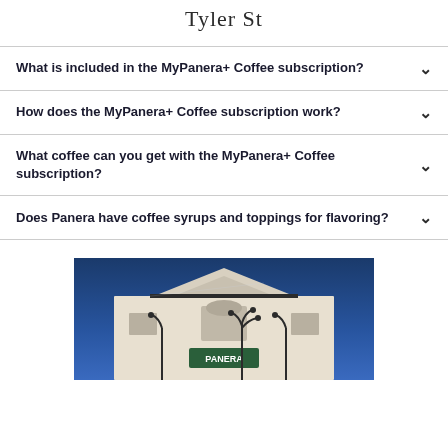Tyler St
What is included in the MyPanera+ Coffee subscription?
How does the MyPanera+ Coffee subscription work?
What coffee can you get with the MyPanera+ Coffee subscription?
Does Panera have coffee syrups and toppings for flavoring?
[Figure (photo): Exterior of a Panera Bread restaurant at dusk/night, showing the white building facade with Panera sign and lamp posts against a dark blue sky]